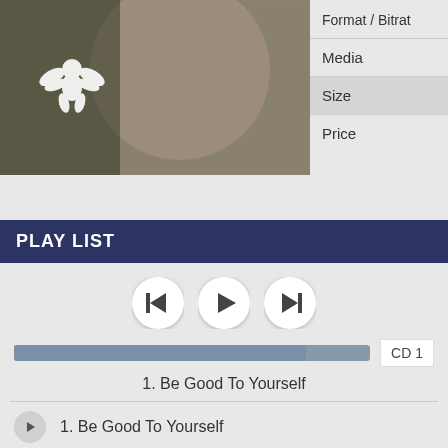[Figure (photo): Album art showing a person's face with a white cherub/angel silhouette icon overlay, in dark muted tones]
Format / Bitrat
Media
Size
Price
PLAY LIST
[Figure (other): Media player controls: skip-back, play, and skip-forward buttons]
CD 1
1. Be Good To Yourself
1. Be Good To Yourself
2. The Doodle Song